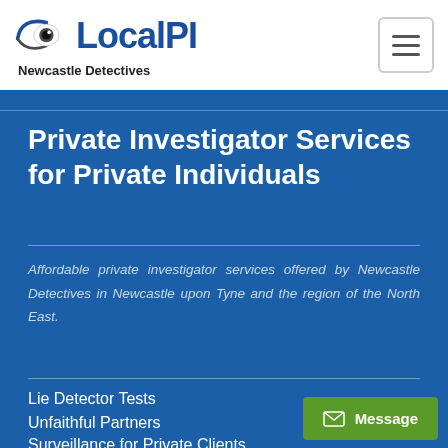LocalPI - Newcastle Detectives
Private Investigator Services for Private Individuals
Affordable private investigator services offered by Newcastle Detectives in Newcastle upon Tyne and the region of the North East.
Lie Detector Tests
Unfaithful Partners
Surveillance for Private Clients
Background Checks